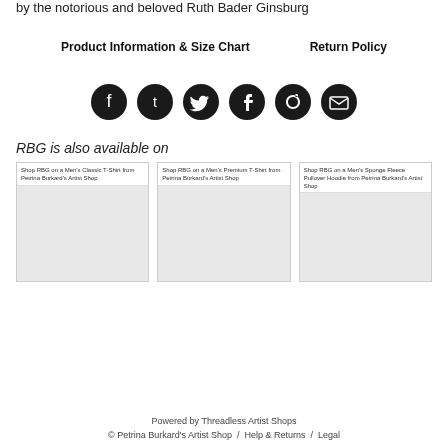by the notorious and beloved Ruth Bader Ginsburg
Product Information & Size Chart    Return Policy
[Figure (infographic): Five social media sharing icons in black circles: Facebook, Tumblr, Twitter, Pinterest, Email]
RBG is also available on
[Figure (screenshot): Shop RBG on a Men's Classic T-Shirt from Petrina Burkard's Artist Shop - product card with light grey background]
[Figure (screenshot): Shop RBG on a Men's Premium T-Shirt from Petrina Burkard's Artist Shop - product card with light grey background]
[Figure (screenshot): Shop RBG on a Men's Sponge Fleece Pullover Hoodie from Petrina Burkard's Artist Shop - product card with light grey background]
Powered by Threadless Artist Shops © Petrina Burkard's Artist Shop / Help & Returns / Legal